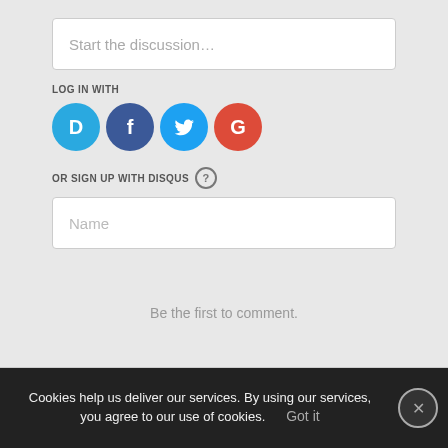Start the discussion…
LOG IN WITH
[Figure (screenshot): Social login icons: Disqus (blue circle with D), Facebook (dark blue circle with f), Twitter (light blue circle with bird), Google (red circle with G)]
OR SIGN UP WITH DISQUS ?
Name
Be the first to comment.
Subscribe   Do Not Sell My Data   DISQUS
Cookies help us deliver our services. By using our services, you agree to our use of cookies.   Got it